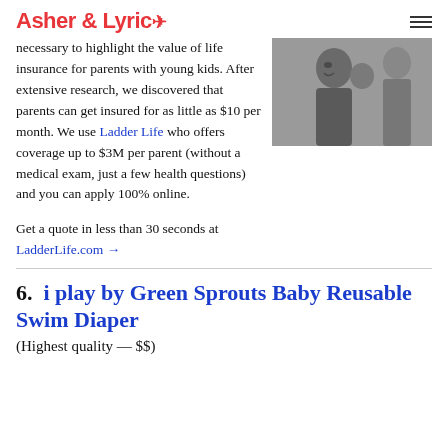Asher & Lyric
necessary to highlight the value of life insurance for parents with young kids. After extensive research, we discovered that parents can get insured for as little as $10 per month. We use Ladder Life who offers coverage up to $3M per parent (without a medical exam, just a few health questions) and you can apply 100% online.
[Figure (photo): Black and white photo of a woman smiling holding a baby, with another person visible in the background]
Get a quote in less than 30 seconds at LadderLife.com →
6.  i play by Green Sprouts Baby Reusable Swim Diaper
(Highest quality — $$)